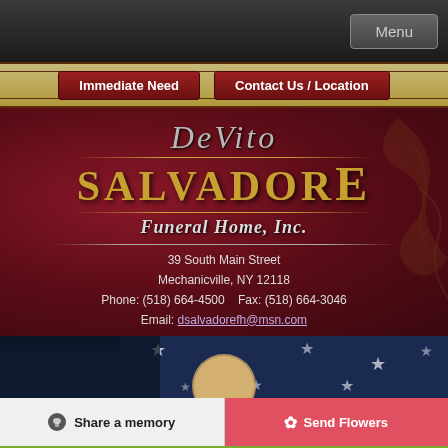Menu
Immediate Need | Contact Us / Location
DeVito Salvadore Funeral Home, Inc.
39 South Main Street
Mechanicville, NY 12118
Phone: (518) 664-4500    Fax: (518) 664-3046
Email: dsalvadorefh@msn.com
[Figure (photo): American flag background with a portrait photo circle, dark blue with white stars]
Share a memory
Send Flowers
Plant a Tree